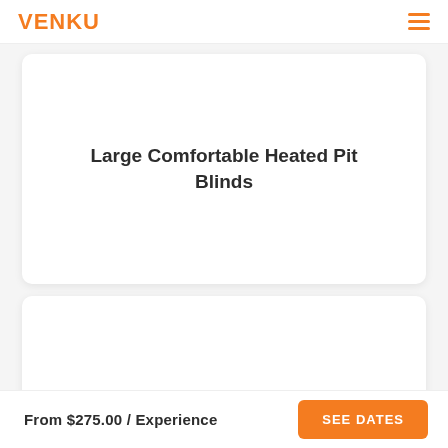VENKU
Large Comfortable Heated Pit Blinds
6 Huge Spreads Of Decoys
From $275.00 / Experience
SEE DATES